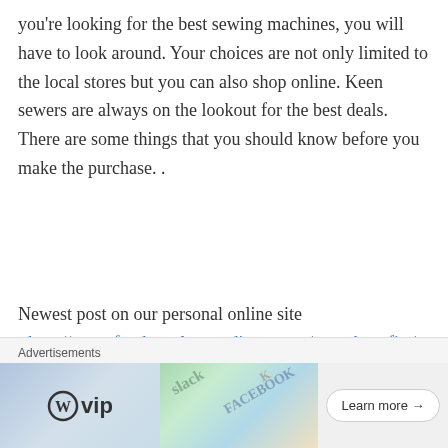you're looking for the best sewing machines, you will have to look around. Your choices are not only limited to the local stores but you can also shop online. Keen sewers are always on the lookout for the best deals. There are some things that you should know before you make the purchase. .
Newest post on our personal online site <http://www.foodsupplementdigest.com/msm-benefits/
★ Like
👍 0 👎 0 ⓘ Rate This
Advertisements